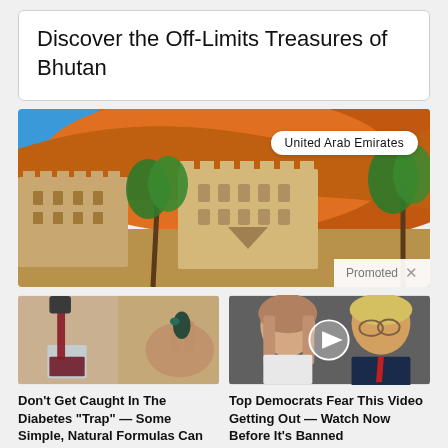Discover the Off-Limits Treasures of Bhutan
[Figure (photo): Desert scene with sand dunes, palm trees, and traditional Arabic mud-brick buildings, labeled United Arab Emirates. Promoted advertisement.]
[Figure (photo): Image of wine being poured into a glass alongside a hand holding a capsule, promoting diabetes remedy article.]
Don't Get Caught In The Diabetes "Trap" — Some Simple, Natural Formulas Can Help
🔥 102
[Figure (photo): Photo of Melania and Donald Trump with a video play button overlay, promoting a political video article.]
Top Democrats Fear This Video Getting Out — Watch Now Before It's Banned
🔥 231,411